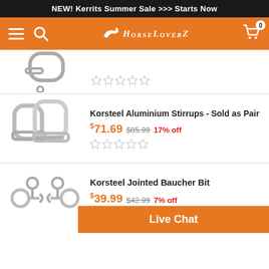NEW! Kerrits Summer Sale >>> Starts Now
[Figure (screenshot): HorseLoverZ e-commerce website navigation bar with hamburger menu, search icon, logo, and shopping cart]
[Figure (photo): Partial product image - stirrup at top of page (cut off)]
[Figure (photo): Korsteel Aluminium Stirrups product image - pair of silver stirrups]
Korsteel Aluminium Stirrups - Sold as Pair
$71.69 $85.99 17% off
[Figure (photo): Korsteel Jointed Baucher Bit product image - silver horse bit]
Korsteel Jointed Baucher Bit
$39.99 $42.99 7% off
Live Chat